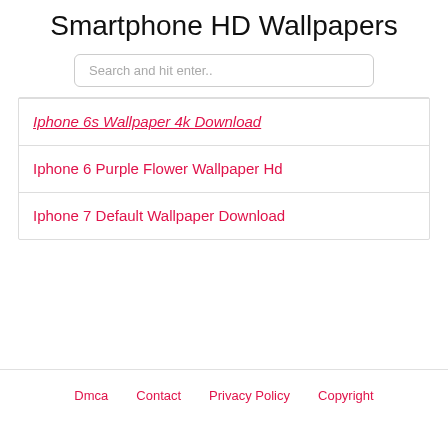Smartphone HD Wallpapers
Search and hit enter..
Iphone 6s Wallpaper 4k Download
Iphone 6 Purple Flower Wallpaper Hd
Iphone 7 Default Wallpaper Download
Dmca   Contact   Privacy Policy   Copyright